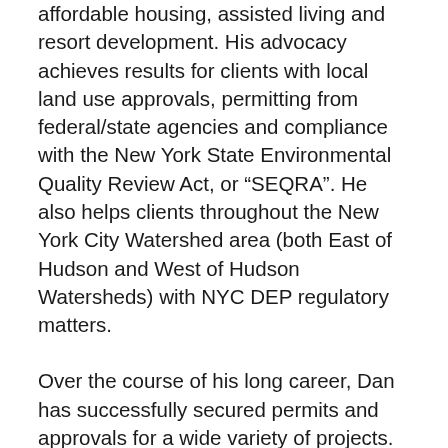affordable housing, assisted living and resort development. His advocacy achieves results for clients with local land use approvals, permitting from federal/state agencies and compliance with the New York State Environmental Quality Review Act, or “SEQRA”. He also helps clients throughout the New York City Watershed area (both East of Hudson and West of Hudson Watersheds) with NYC DEP regulatory matters.
Over the course of his long career, Dan has successfully secured permits and approvals for a wide variety of projects. The expansive geographic area of Dan’s practice covers the New York City area, the greater Hudson Valley region and areas north and west of Albany. He has also practiced throughout the State of Connecticut. When necessary, he has successfully challenged and defended governmental determinations by CPLR Article 78 and other planning law...